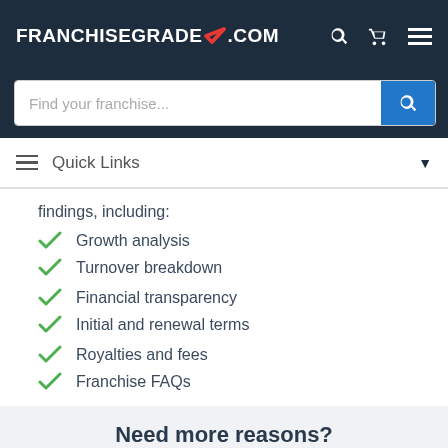FRANCHISEGRADE.COM
Find your franchise...
Quick Links
findings, including:
Growth analysis
Turnover breakdown
Financial transparency
Initial and renewal terms
Royalties and fees
Franchise FAQs
Need more reasons?